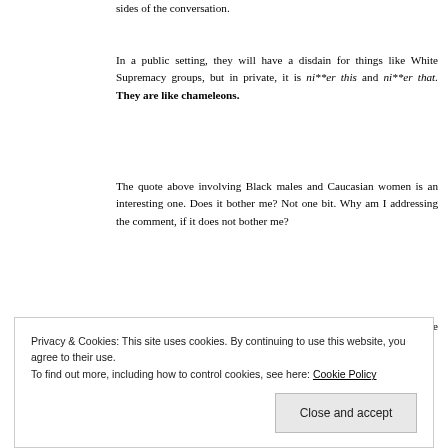sides of the conversation.
In a public setting, they will have a disdain for things like White Supremacy groups, but in private, it is ni**er this and ni**er that. They are like chameleons.
The quote above involving Black males and Caucasian women is an interesting one. Does it bother me? Not one bit. Why am I addressing the comment, if it does not bother me?
I often read articles and hear people say that racism is dead, because the United States elected its first biracial president.
Privacy & Cookies: This site uses cookies. By continuing to use this website, you agree to their use.
To find out more, including how to control cookies, see here: Cookie Policy